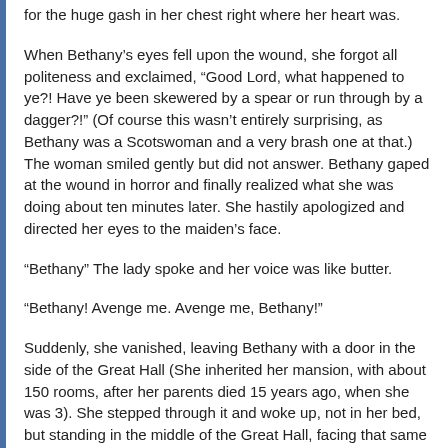for the huge gash in her chest right where her heart was.
When Bethany's eyes fell upon the wound, she forgot all politeness and exclaimed, “Good Lord, what happened to ye?! Have ye been skewered by a spear or run through by a dagger?!” (Of course this wasn’t entirely surprising, as Bethany was a Scotswoman and a very brash one at that.) The woman smiled gently but did not answer. Bethany gaped at the wound in horror and finally realized what she was doing about ten minutes later. She hastily apologized and directed her eyes to the maiden’s face.
“Bethany” The lady spoke and her voice was like butter.
“Bethany! Avenge me. Avenge me, Bethany!”
Suddenly, she vanished, leaving Bethany with a door in the side of the Great Hall (She inherited her mansion, with about 150 rooms, after her parents died 15 years ago, when she was 3). She stepped through it and woke up, not in her bed, but standing in the middle of the Great Hall, facing that same door. She yolped and fell on the floor out of pure surprise.